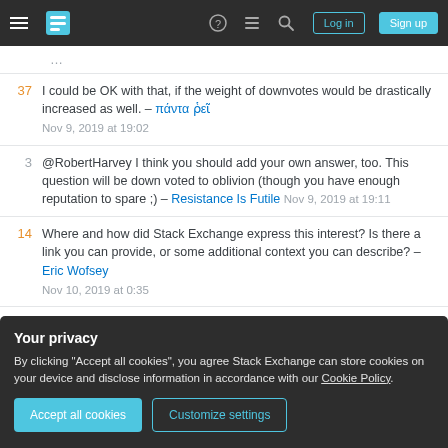Stack Exchange navigation bar with hamburger menu, logo, icons, Log in and Sign up buttons
37  I could be OK with that, if the weight of downvotes would be drastically increased as well. – πάντα ῥεῖ  Nov 9, 2019 at 19:02
3  @RobertHarvey I think you should add your own answer, too. This question will be down voted to oblivion (though you have enough reputation to spare ;) – Resistance Is Futile  Nov 9, 2019 at 19:11
14  Where and how did Stack Exchange express this interest? Is there a link you can provide, or some additional context you can describe? – Eric Wofsey  Nov 10, 2019 at 0:35
Your privacy
By clicking "Accept all cookies", you agree Stack Exchange can store cookies on your device and disclose information in accordance with our Cookie Policy.
Accept all cookies    Customize settings
Eric a link instead of being cryptic and making